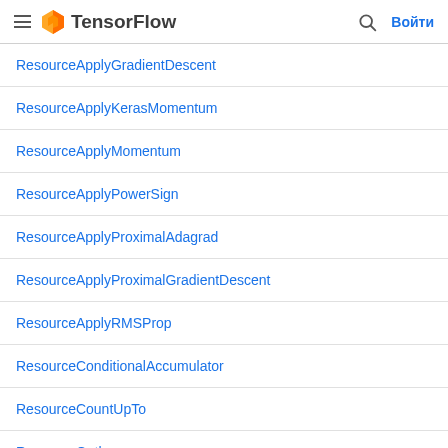TensorFlow
ResourceApplyGradientDescent
ResourceApplyKerasMomentum
ResourceApplyMomentum
ResourceApplyPowerSign
ResourceApplyProximalAdagrad
ResourceApplyProximalGradientDescent
ResourceApplyRMSProp
ResourceConditionalAccumulator
ResourceCountUpTo
ResourceGather
ResourceGatherNd